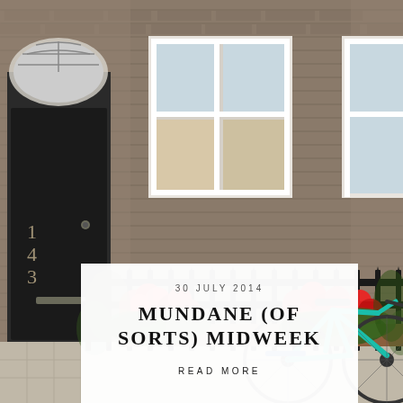[Figure (photo): Brick townhouse facade with black iron fence decorated with red geranium flower boxes, a teal bicycle parked in front, and a black front door numbered 143 with a fanlight window above.]
30 JULY 2014
MUNDANE (OF SORTS) MIDWEEK
READ MORE